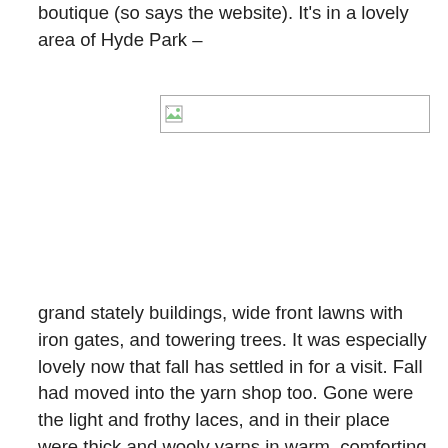boutique (so says the website).  It's in a lovely area of Hyde Park –
[Figure (photo): Broken/missing image placeholder]
grand stately buildings, wide front lawns with iron gates, and towering trees.  It was especially lovely now that fall has settled in for a visit.  Fall had moved into the yarn shop too.  Gone were the light and frothy laces, and in their place were thick and wooly yarns in warm, comforting tones.  These beauties caught my eye, as they looked like